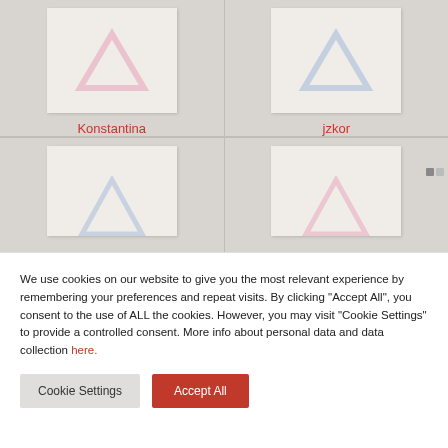[Figure (screenshot): Gallery grid showing user artwork thumbnails with pink/blue triangle logos. Top row: Konstantina and jzkor. Bottom row: two more partially visible thumbnails.]
Konstantina
jzkor
We use cookies on our website to give you the most relevant experience by remembering your preferences and repeat visits. By clicking “Accept All”, you consent to the use of ALL the cookies. However, you may visit “Cookie Settings” to provide a controlled consent. More info about personal data and data collection here.